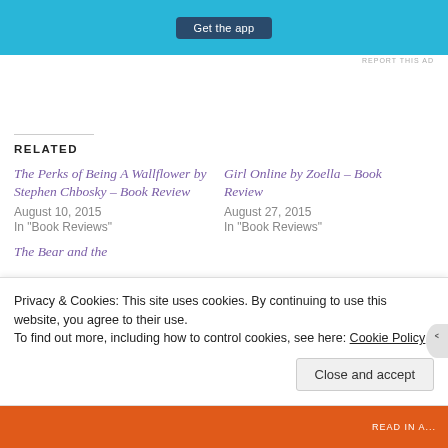[Figure (screenshot): Blue app advertisement banner with 'Get the app' button]
REPORT THIS AD
RELATED
The Perks of Being A Wallflower by Stephen Chbosky – Book Review
August 10, 2015
In "Book Reviews"
Girl Online by Zoella – Book Review
August 27, 2015
In "Book Reviews"
The Bear and the
Privacy & Cookies: This site uses cookies. By continuing to use this website, you agree to their use.
To find out more, including how to control cookies, see here: Cookie Policy
Close and accept